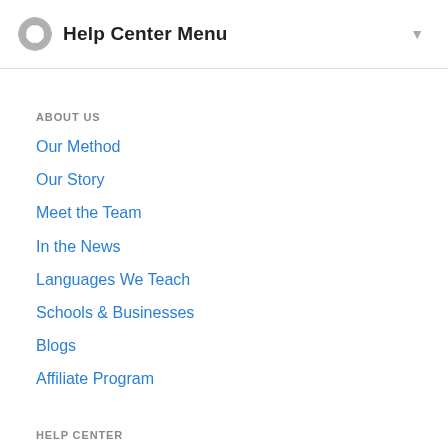Help Center Menu
ABOUT US
Our Method
Our Story
Meet the Team
In the News
Languages We Teach
Schools & Businesses
Blogs
Affiliate Program
HELP CENTER